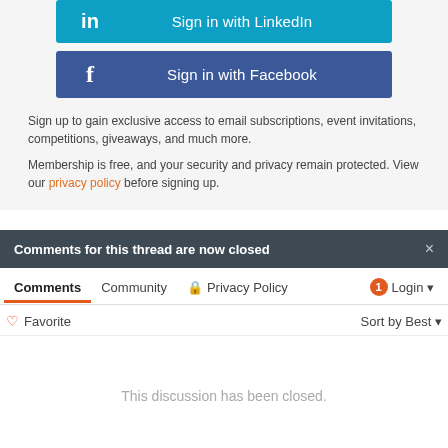[Figure (other): Sign in with LinkedIn button — blue button with LinkedIn 'in' icon on left and text 'Sign in with LinkedIn' centered]
[Figure (other): Sign in with Facebook button — dark blue button with Facebook 'f' icon on left and text 'Sign in with Facebook' centered]
Sign up to gain exclusive access to email subscriptions, event invitations, competitions, giveaways, and much more.
Membership is free, and your security and privacy remain protected. View our privacy policy before signing up.
Comments for this thread are now closed
Comments  Community  Privacy Policy  1  Login
Favorite  Sort by Best
This discussion has been closed.